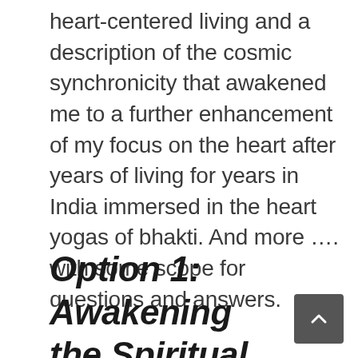heart-centered living and a description of the cosmic synchronicity that awakened me to a further enhancement of my focus on the heart after years of living for years in India immersed in the heart yogas of bhakti. And more …. with some scope for questions and answers.
Option 1: Awakening the Spiritual Heart